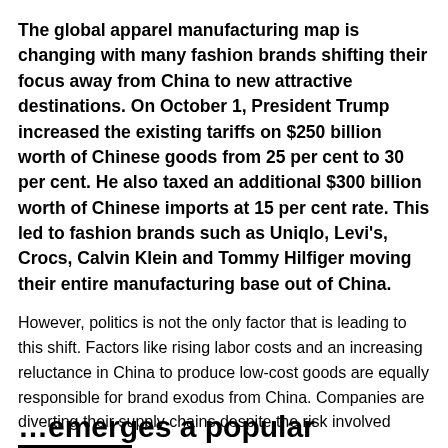The global apparel manufacturing map is changing with many fashion brands shifting their focus away from China to new attractive destinations. On October 1, President Trump increased the existing tariffs on $250 billion worth of Chinese goods from 25 per cent to 30 per cent. He also taxed an additional $300 billion worth of Chinese imports at 15 per cent rate. This led to fashion brands such as Uniqlo, Levi's, Crocs, Calvin Klein and Tommy Hilfiger moving their entire manufacturing base out of China.
However, politics is not the only factor that is leading to this shift. Factors like rising labor costs and an increasing reluctance in China to produce low-cost goods are equally responsible for brand exodus from China. Companies are diverting their supply chains despite the risk involved
Translate »
…emerges a popular